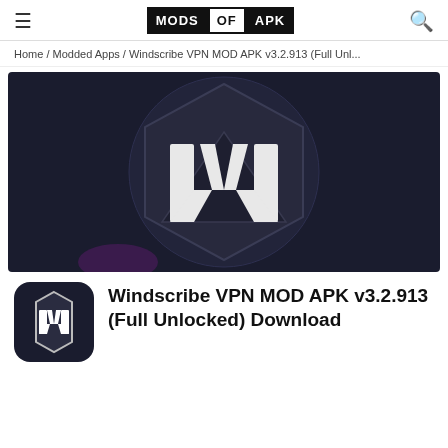MODS OF APK
Home / Modded Apps / Windscribe VPN MOD APK v3.2.913 (Full Unl...
[Figure (photo): Windscribe VPN app hero banner showing large stylized W logo on dark background]
[Figure (logo): Windscribe VPN app icon - dark rounded square with white W logo on hexagon]
Windscribe VPN MOD APK v3.2.913 (Full Unlocked) Download